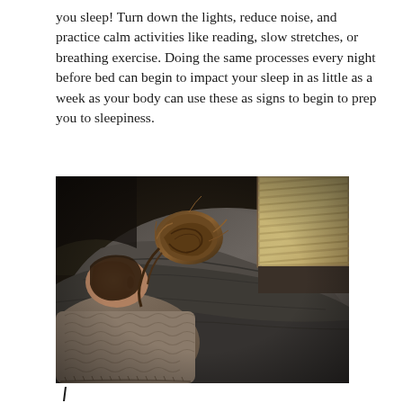you sleep! Turn down the lights, reduce noise, and practice calm activities like reading, slow stretches, or breathing exercise. Doing the same processes every night before bed can begin to impact your sleep in as little as a week as your body can use these as signs to begin to prep you to sleepiness.
[Figure (photo): A person sleeping face-down wrapped in a dark grey blanket, with hair in a loose bun, lying on a pillow. A window with blinds is visible in the upper right corner. The image has a dark, moody tone.]